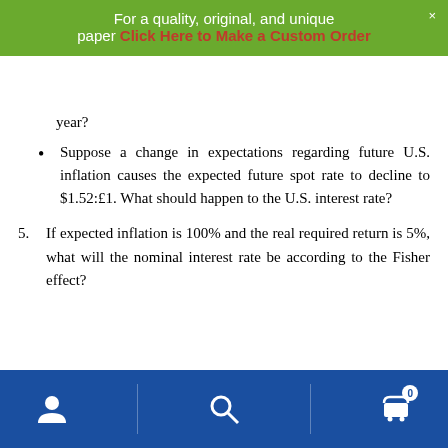For a quality, original, and unique paper Click Here to Make a Custom Order
year?
Suppose a change in expectations regarding future U.S. inflation causes the expected future spot rate to decline to $1.52:£1. What should happen to the U.S. interest rate?
5. If expected inflation is 100% and the real required return is 5%, what will the nominal interest rate be according to the Fisher effect?
[Figure (other): Blue footer navigation bar with user icon, search icon, and cart icon with badge showing 0]